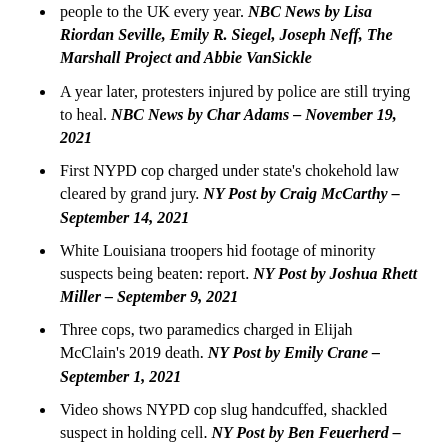people to the UK every year. NBC News by Lisa Riordan Seville, Emily R. Siegel, Joseph Neff, The Marshall Project and Abbie VanSickle
A year later, protesters injured by police are still trying to heal. NBC News by Char Adams – November 19, 2021
First NYPD cop charged under state's chokehold law cleared by grand jury. NY Post by Craig McCarthy – September 14, 2021
White Louisiana troopers hid footage of minority suspects being beaten: report. NY Post by Joshua Rhett Miller – September 9, 2021
Three cops, two paramedics charged in Elijah McClain's 2019 death. NY Post by Emily Crane – September 1, 2021
Video shows NYPD cop slug handcuffed, shackled suspect in holding cell. NY Post by Ben Feuerherd – August 26, 2021
Family of Black retired Army major killed by police